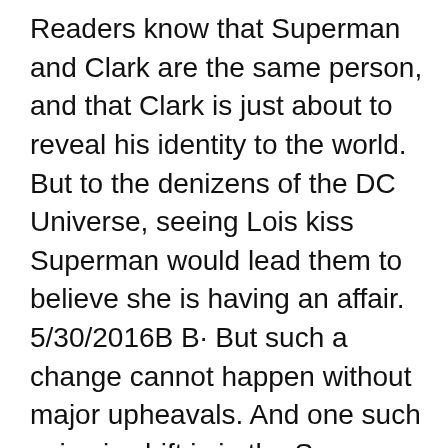Readers know that Superman and Clark are the same person, and that Clark is just about to reveal his identity to the world. But to the denizens of the DC Universe, seeing Lois kiss Superman would lead them to believe she is having an affair. 5/30/2016B B· But such a change cannot happen without major upheavals. And one such seismic shift is in the Superman books. The New 52 Superman is 'dead'. And the Pre-Flashpoint Superman, stuck on this world, might have to pick up the mantle. Superman:Lois and Clark by Dan Jurgens and Lee Weeks was supposed to be a 12 issue maxi-series. Despite decent sales